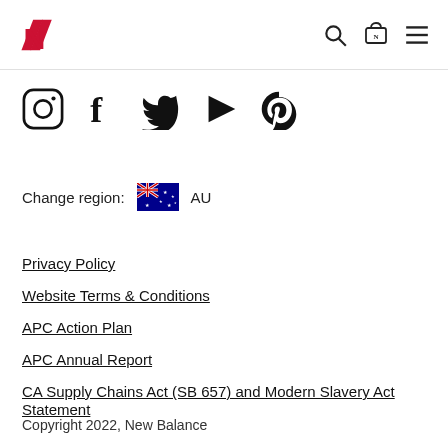[Figure (logo): New Balance logo - red NB speed lines icon in top left of header]
[Figure (other): Header navigation icons: search magnifier, shopping cart with N, hamburger menu]
[Figure (other): Social media icons row: Instagram, Facebook, Twitter, YouTube, Pinterest]
Change region: AU
[Figure (other): Australian flag icon next to region selector]
Privacy Policy
Website Terms & Conditions
APC Action Plan
APC Annual Report
CA Supply Chains Act (SB 657) and Modern Slavery Act Statement
Copyright 2022, New Balance